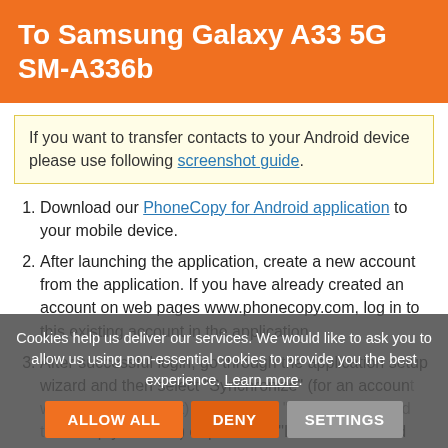To Samsung Galaxy A33 5G SM-A336b
If you want to transfer contacts to your Android device please use following screenshot guide.
Download our PhoneCopy for Android application to your mobile device.
After launching the application, create a new account from the application. If you have already created an account on web pages www.phonecopy.com, log in to this existing account in the application.
After successful login, go through the application setup wizard and then select "Synchronize" (for an account with existing content) or press the "Later" button and then press the "Synchronize" button (for an empty account) or press the "Later" button and then
Cookies help us deliver our services. We would like to ask you to allow us using non-essential cookies to provide you the best experience. Learn more